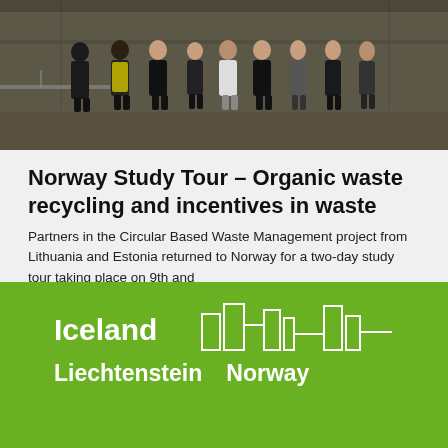[Figure (photo): Group of people standing together at what appears to be a facility or construction site, several wearing dark coats, one in a high-visibility yellow vest.]
Norway Study Tour – Organic waste recycling and incentives in waste
Partners in the Circular Based Waste Management project from Lithuania and Estonia returned to Norway for a two-day study tour taking place on 9th and
Read More »
1  2  3  4  5
[Figure (logo): Iceland Liechtenstein Norway grants logo on green background with white skyline/building icon graphic]